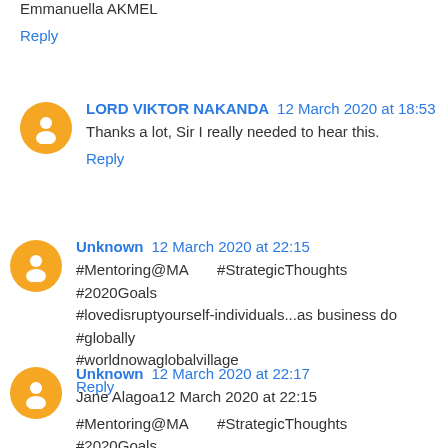Emmanuella AKMEL
Reply
LORD VIKTOR NAKANDA  12 March 2020 at 18:53
Thanks a lot, Sir I really needed to hear this.
Reply
Unknown  12 March 2020 at 22:15
#Mentoring@MA        #StrategicThoughts        #2020Goals #lovedisruptyourself-individuals...as business do #globally #worldnowaglobalvillage
Reply
Unknown  12 March 2020 at 22:17
Jane Alagoa12 March 2020 at 22:15
#Mentoring@MA        #StrategicThoughts        #2020Goals